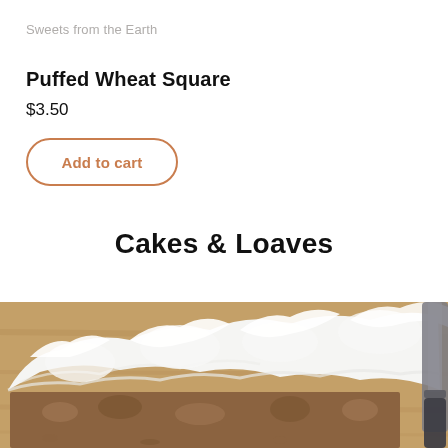Sweets from the Earth
Puffed Wheat Square
$3.50
Add to cart
Cakes & Loaves
[Figure (photo): Close-up photo of a cake or baked good with thick white frosting/whipped cream topping on a wooden surface, with a knife visible on the right side.]